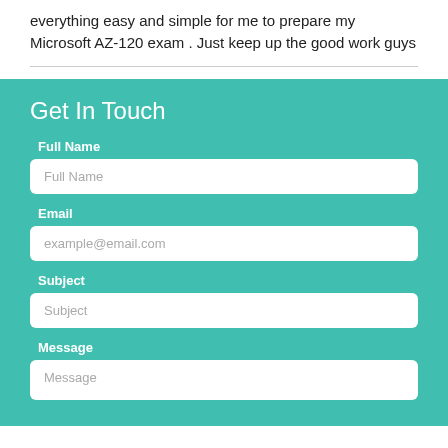everything easy and simple for me to prepare my Microsoft AZ-120 exam . Just keep up the good work guys
Get In Touch
Full Name
Full Name
Email
example@email.com
Subject
Subject
Message
Message